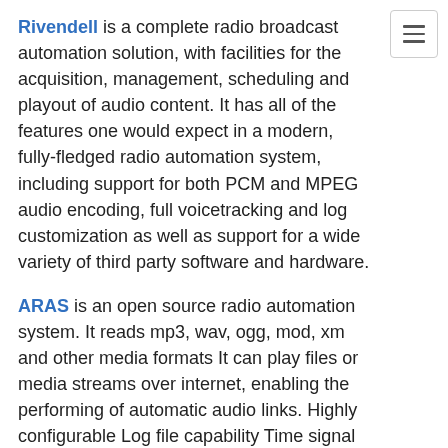Rivendell is a complete radio broadcast automation solution, with facilities for the acquisition, management, scheduling and playout of audio content. It has all of the features one would expect in a modern, fully-fledged radio automation system, including support for both PCM and MPEG audio encoding, full voicetracking and log customization as well as support for a wide variety of third party software and hardware.
ARAS is an open source radio automation system. It reads mp3, wav, ogg, mod, xm and other media formats It can play files or media streams over internet, enabling the performing of automatic audio links. Highly configurable Log file capability Time signal capability Interval signal capability It works with single file blocks, playlist blocks, blocks of random files, blocks of one random file and interleaved blocks. Fade out capability and flexible scheduling.